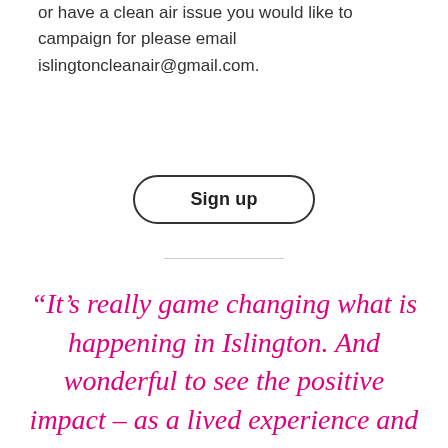or have a clean air issue you would like to campaign for please email islingtoncleanair@gmail.com.
Sign up
“It’s really game changing what is happening in Islington. And wonderful to see the positive impact – as a lived experience and